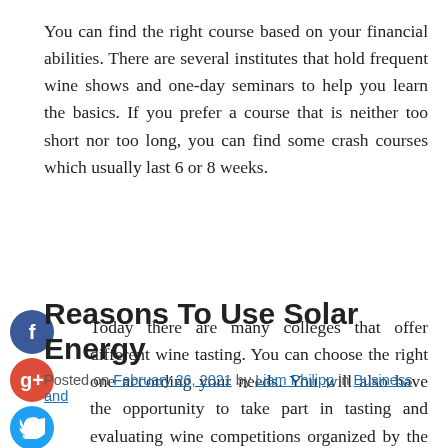You can find the right course based on your financial abilities. There are several institutes that hold frequent wine shows and one-day seminars to help you learn the basics. If you prefer a course that is neither too short nor too long, you can find some crash courses which usually last 6 or 8 weeks.
Today there are many colleges that offer different wine tasting. You can choose the right one according your needs. You will also have the opportunity to take part in tasting and evaluating wine competitions organized by the institution.
Reasons To Use Solar Energy
Posted on February 26, 2021 by Liam Philipp in Business and